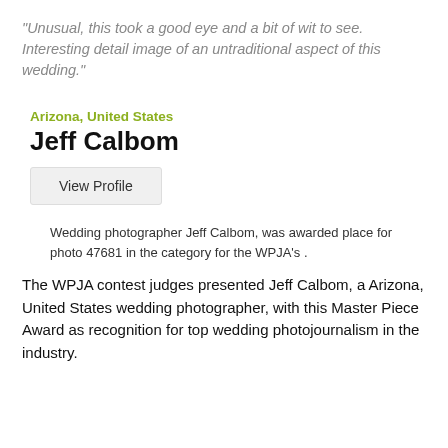“Unusual, this took a good eye and a bit of wit to see. Interesting detail image of an untraditional aspect of this wedding.”
Arizona, United States
Jeff Calbom
View Profile
Wedding photographer Jeff Calbom, was awarded place for photo 47681 in the category for the WPJA’s .
The WPJA contest judges presented Jeff Calbom, a Arizona, United States wedding photographer, with this Master Piece Award as recognition for top wedding photojournalism in the industry.